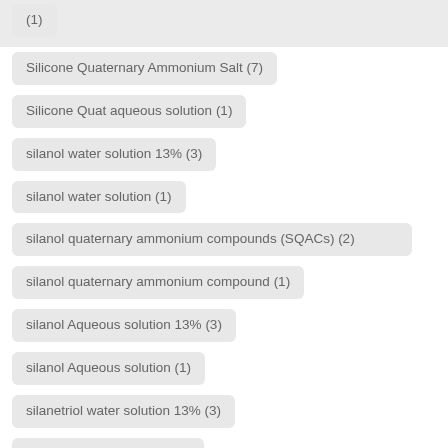(1)
Silicone Quaternary Ammonium Salt (7)
Silicone Quat aqueous solution (1)
silanol water solution 13% (3)
silanol water solution (1)
silanol quaternary ammonium compounds (SQACs) (2)
silanol quaternary ammonium compound (1)
silanol Aqueous solution 13% (3)
silanol Aqueous solution (1)
silanetriol water solution 13% (3)
silanetriol water solution (1)
Silanetriol Powder (1)